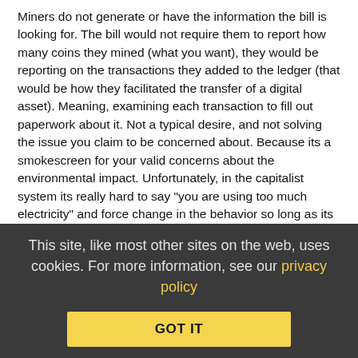Miners do not generate or have the information the bill is looking for. The bill would not require them to report how many coins they mined (what you want), they would be reporting on the transactions they added to the ledger (that would be how they facilitated the transfer of a digital asset). Meaning, examining each transaction to fill out paperwork about it. Not a typical desire, and not solving the issue you claim to be concerned about. Because its a smokescreen for your valid concerns about the environmental impact. Unfortunately, in the capitalist system its really hard to say "you are using too much electricity" and force change in the behavior so long as its paid for.
Tax liability only occurs when a trade happens. The amendment assumes that eventually, a coin will have to be traded with a broker. The amendment might be making bad assumptions about what percentage of the volume of trades happen through brokers, but I rather expect the assumption is that, eventually, the point of bitcoin is to cash out. That is much more difficult
This site, like most other sites on the web, uses cookies. For more information, see our privacy policy